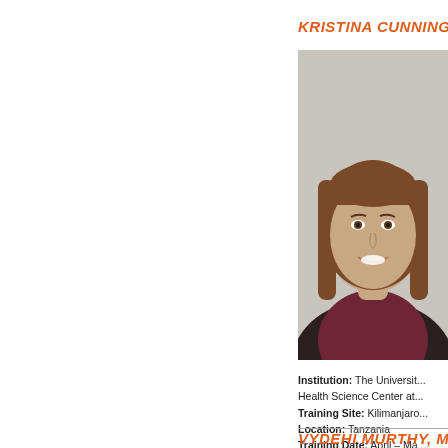KRISTINA CUNNINGHA...
[Figure (photo): Headshot photo of Kristina Cunningham, a young woman with long straight brown hair, smiling, wearing a dark blazer over a maroon top, against a neutral light background.]
Institution: The University... Health Science Center at...
Training Site: Kilimanjaro...
Location: Tanzania
Training Date: April – Ma...
VYDEHI MURTHY, MD,...